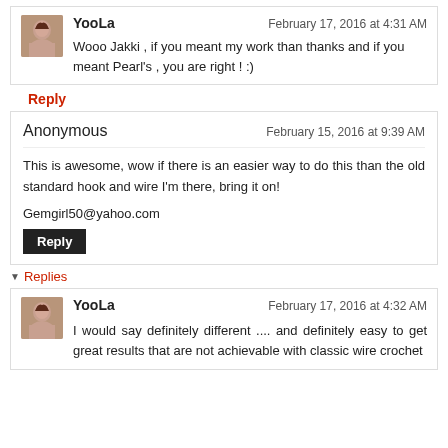YooLa — February 17, 2016 at 4:31 AM — Wooo Jakki , if you meant my work than thanks and if you meant Pearl's , you are right ! :)
Reply
Anonymous — February 15, 2016 at 9:39 AM — This is awesome, wow if there is an easier way to do this than the old standard hook and wire I'm there, bring it on!

Gemgirl50@yahoo.com
▼ Replies
YooLa — February 17, 2016 at 4:32 AM — I would say definitely different .... and definitely easy to get great results that are not achievable with classic wire crochet